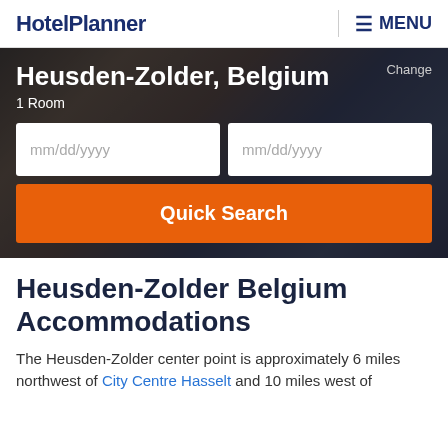HotelPlanner  ☰ MENU
Heusden-Zolder, Belgium
1 Room
mm/dd/yyyy  mm/dd/yyyy
Quick Search
Heusden-Zolder Belgium Accommodations
The Heusden-Zolder center point is approximately 6 miles northwest of City Centre Hasselt and 10 miles west of